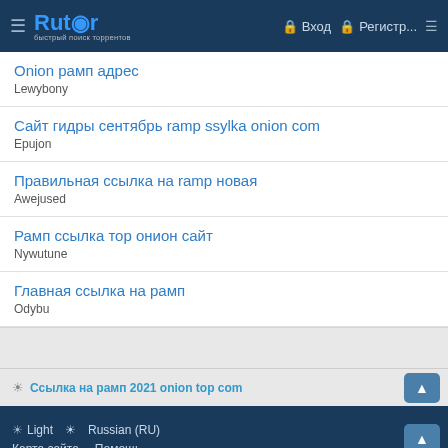Rutor — Вход — Регистр...
Onion рамп адрес
Lewybony
Сайт гидры сентябрь ramp ssylka onion com
Epujon
Правильная ссылка на ramp новая
Awejused
Рамп ссылка тор онион сайт
Nywutune
Главная ссылка на рамп
Odybu
☀ Ссылка на рамп 2021 onion top com
☀ Light   ☀ Russian (RU)   Карта сайта   Помощь